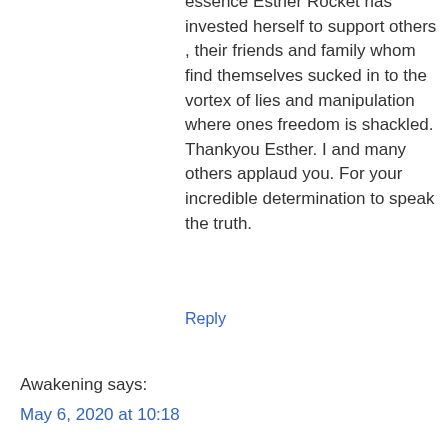essence Esther Rocket has invested herself to support others , their friends and family whom find themselves sucked in to the vortex of lies and manipulation where ones freedom is shackled. Thankyou Esther. I and many others applaud you. For your incredible determination to speak the truth.
Reply
Awakening says:
May 6, 2020 at 10:18